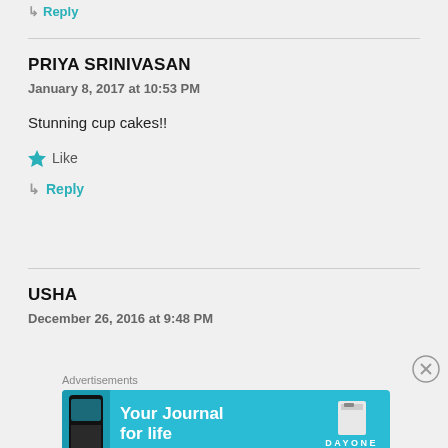↳ Reply
PRIYA SRINIVASAN
January 8, 2017 at 10:53 PM
Stunning cup cakes!!
★ Like
↳ Reply
USHA
December 26, 2016 at 9:48 PM
[Figure (screenshot): Advertisement banner: 'Your Journal for life' - Day One app ad with teal/cyan background, phone mockup on left, book icon and DAYONE logo on right]